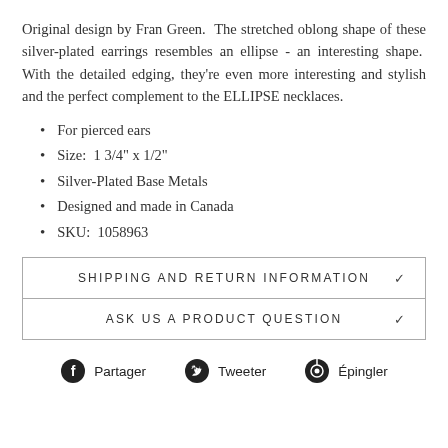Original design by Fran Green.  The stretched oblong shape of these silver-plated earrings resembles an ellipse - an interesting shape.  With the detailed edging, they're even more interesting and stylish and the perfect complement to the ELLIPSE necklaces.
For pierced ears
Size:  1 3/4" x 1/2"
Silver-Plated Base Metals
Designed and made in Canada
SKU:  1058963
SHIPPING AND RETURN INFORMATION
ASK US A PRODUCT QUESTION
Partager   Tweeter   Épingler